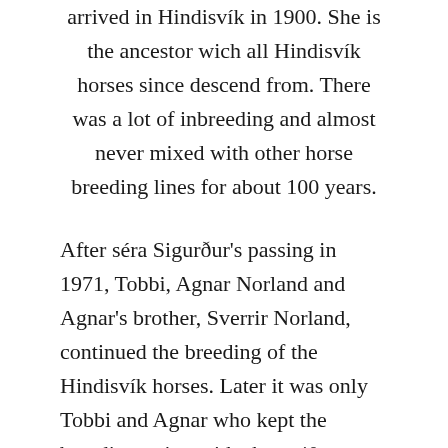arrived in Hindisvík in 1900. She is the ancestor wich all Hindisvík horses since descend from. There was a lot of inbreeding and almost never mixed with other horse breeding lines for about 100 years.

After séra Sigurður's passing in 1971, Tobbi, Agnar Norland and Agnar's brother, Sverrir Norland, continued the breeding of the Hindisvík horses. Later it was only Tobbi and Agnar who kept the breeding going with about 40 breedingmares till 1995. After that the breeding decreased dramatically because of various reasons, but they